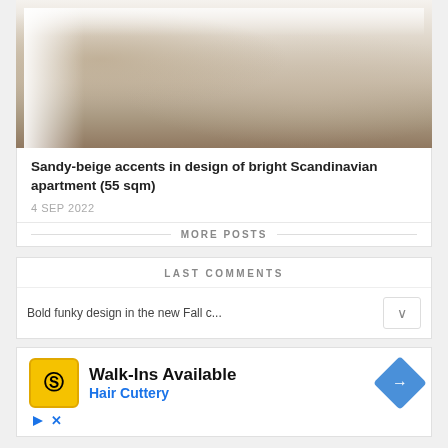[Figure (photo): Scandinavian bedroom with sandy-beige accents, white walls, natural wood bed frame, hanging bags on hooks, decorative items on wall]
Sandy-beige accents in design of bright Scandinavian apartment (55 sqm)
4 SEP 2022
MORE POSTS
LAST COMMENTS
Bold funky design in the new Fall c...
[Figure (infographic): Advertisement: Walk-Ins Available - Hair Cuttery with HC logo and navigation arrow icon]